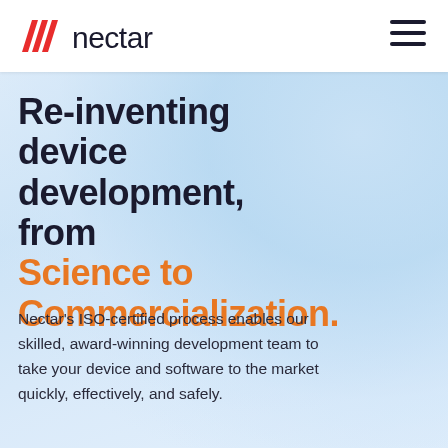[Figure (logo): Nectar logo with stylized red/orange double-stripe chevron mark and wordmark 'nectar' in dark text]
[Figure (illustration): Blurred background photo of laboratory/medical setting with blue-toned glassware and equipment]
Re-inventing device development, from Science to Commercialization.
Nectar's ISO-certified process enables our skilled, award-winning development team to take your device and software to the market quickly, effectively, and safely.